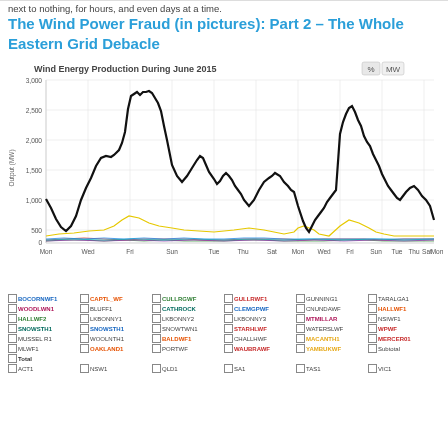next to nothing, for hours, and even days at a time.
The Wind Power Fraud (in pictures): Part 2 – The Whole Eastern Grid Debacle
[Figure (line-chart): Multi-series line chart showing wind energy production during June 2015 for many wind farms across the Eastern Australian grid. The dominant thick black line shows Total output ranging from near 0 to ~3000 MW with several peaks. Many colored lines show individual wind farm outputs near the bottom.]
Wind Energy Production During June 2015
BOCORNWF1 | CAPTL_WF | CULLRGWF | GULLRWF1 | GUNNING1 | TARALGA1 | WOODLWN1 | BLUFF1 | CATHROCK | CLEMGPWF | CNUNDAWF | HALLWF1 | HALLWF2 | LKBONNY1 | LKBONNY2 | LKBONNY3 | MTMILLAR | NSIWF1 | SNOWSTH1 | SNOWSTH1 | SNOWTWN1 | STARHLWF | WATERSLWF | WPWF | MUSSEL R1 | WOOLNTH1 | BALDWF1 | CHALLHWF | MACANTH1 | MERCER01 | MLWF1 | OAKLAND1 | PORTWF | WAUBRAWF | YAMBUKWF | Subtotal | Total | ACT1 | NSW1 | QLD1 | SA1 | TAS1 | VIC1